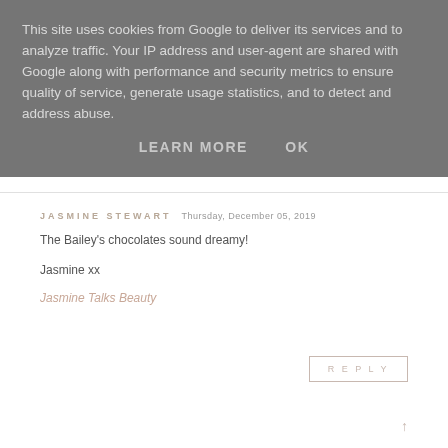This site uses cookies from Google to deliver its services and to analyze traffic. Your IP address and user-agent are shared with Google along with performance and security metrics to ensure quality of service, generate usage statistics, and to detect and address abuse.
LEARN MORE   OK
JASMINE STEWART   Thursday, December 05, 2019
The Bailey's chocolates sound dreamy!

Jasmine xx
Jasmine Talks Beauty
REPLY
↑